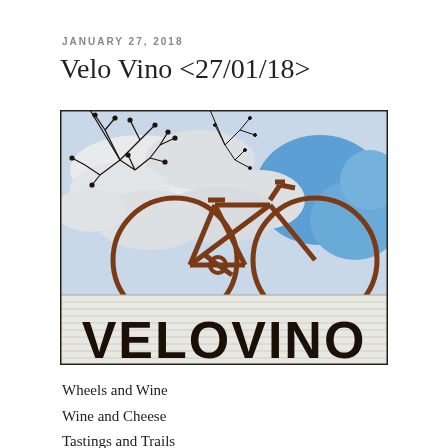JANUARY 27, 2018
Velo Vino <27/01/18>
[Figure (photo): Photograph of the Velo Vino sign: a large rusty metal bicycle sculpture mounted above a marquee sign reading 'VELO VINO' in bold black block letters, set against a cloudy blue sky with bare tree branches visible in the background.]
Wheels and Wine
Wine and Cheese
Tastings and Trails